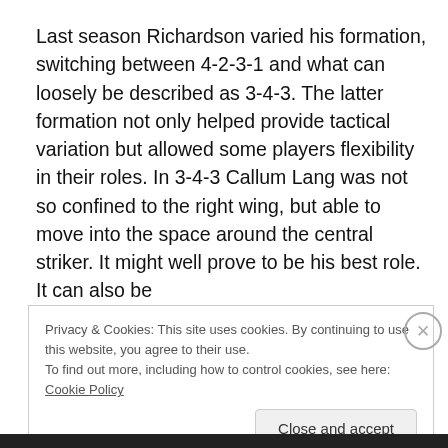Last season Richardson varied his formation, switching between 4-2-3-1 and what can loosely be described as 3-4-3. The latter formation not only helped provide tactical variation but allowed some players flexibility in their roles. In 3-4-3 Callum Lang was not so confined to the right wing, but able to move into the space around the central striker. It might well prove to be his best role. It can also be
Privacy & Cookies: This site uses cookies. By continuing to use this website, you agree to their use.
To find out more, including how to control cookies, see here: Cookie Policy
Close and accept